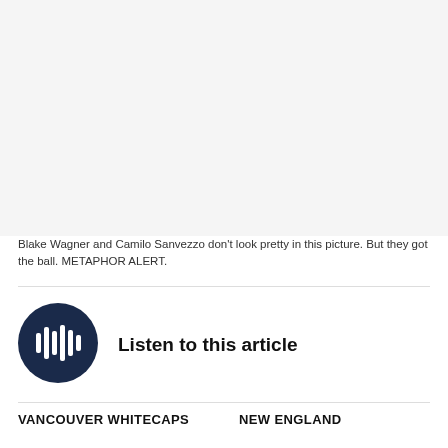[Figure (photo): Blank/white image area at top of page, representing a photo of Blake Wagner and Camilo Sanvezzo]
Blake Wagner and Camilo Sanvezzo don't look pretty in this picture. But they got the ball. METAPHOR ALERT.
[Figure (other): Dark navy circular play button icon with audio waveform/bars symbol inside]
Listen to this article
VANCOUVER WHITECAPS
NEW ENGLAND